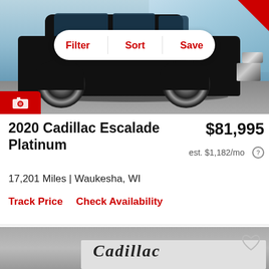[Figure (photo): Black 2020 Cadillac Escalade Platinum SUV photographed from the side in a dealership parking lot. A Filter/Sort/Save navigation bar overlays the top of the image. A red badge is in the top-right corner.]
2020 Cadillac Escalade Platinum
$81,995
est. $1,182/mo
17,201 Miles | Waukesha, WI
Track Price
Check Availability
[Figure (photo): Partial view of a second Cadillac dealership listing showing the Cadillac script logo sign on the dealership building. A heart/save icon is visible in the upper right.]